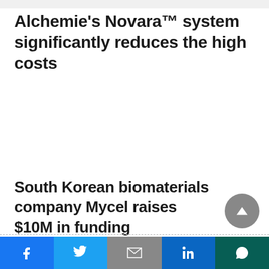Alchemie's Novara™ system significantly reduces the high costs
South Korean biomaterials company Mycel raises $10M in funding
Social share bar: Facebook, Twitter, Gmail, LinkedIn, WhatsApp